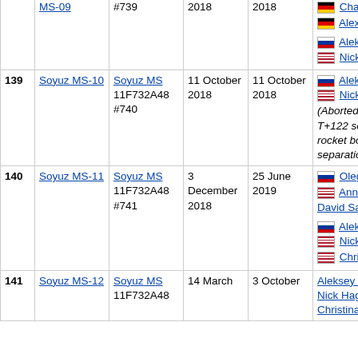| # | Mission | Serial | Launch | Landing | Crew | Destination |
| --- | --- | --- | --- | --- | --- | --- |
| 139 | Soyuz MS-10 | Soyuz MS 11F732A48 #740 | 11 October 2018 | 11 October 2018 | Aleksey Ovchinin, Nick Hague (Aborted launch at T+122 seconds due to rocket booster separation failure) | International Space Station |
| 140 | Soyuz MS-11 | Soyuz MS 11F732A48 #741 | 3 December 2018 | 25 June 2019 | Oleg Kononenko, Anne McClain, David Saint-Jacques | International Space Station |
| 141 | Soyuz MS-12 | Soyuz MS 11F732A48 | 14 March | 3 October | Aleksey Ovchinin, Nick Hague, Christina Koch | International Space Station |